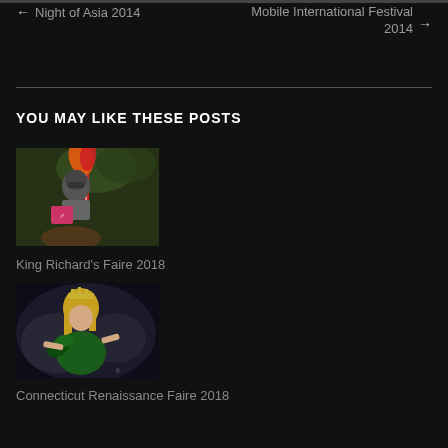← Night of Asia 2014    Mobile International Festival 2014 →
YOU MAY LIKE THESE POSTS
[Figure (photo): A knight in full armor holding a jousting lance with colorful feathers on the helmet, at a Renaissance faire event]
King Richard's Faire 2018
[Figure (photo): A blonde woman in a green costume with a crown/headpiece, performing or posing at a Renaissance faire]
Connecticut Renaissance Faire 2018